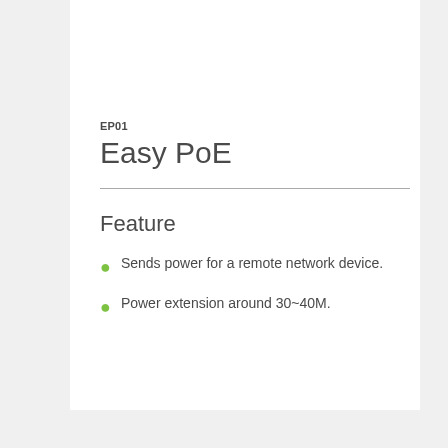EP01
Easy PoE
Feature
Sends power for a remote network device.
Power extension around 30~40M.